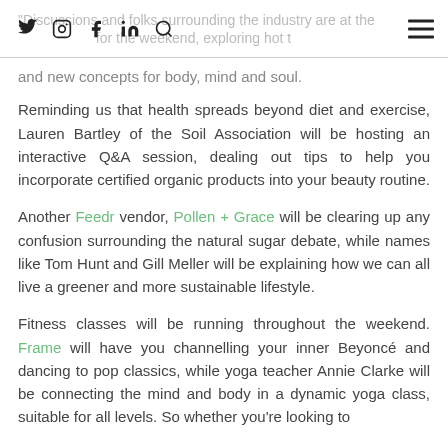Discussions and folks surrounding the industry are at the heart of the weekend, exploring hot topics and new concepts for body, mind and soul.
and new concepts for body, mind and soul.
Reminding us that health spreads beyond diet and exercise, Lauren Bartley of the Soil Association will be hosting an interactive Q&A session, dealing out tips to help you incorporate certified organic products into your beauty routine.
Another Feedr vendor, Pollen + Grace will be clearing up any confusion surrounding the natural sugar debate, while names like Tom Hunt and Gill Meller will be explaining how we can all live a greener and more sustainable lifestyle.
Fitness classes will be running throughout the weekend. Frame will have you channelling your inner Beyoncé and dancing to pop classics, while yoga teacher Annie Clarke will be connecting the mind and body in a dynamic yoga class, suitable for all levels. So whether you're looking to